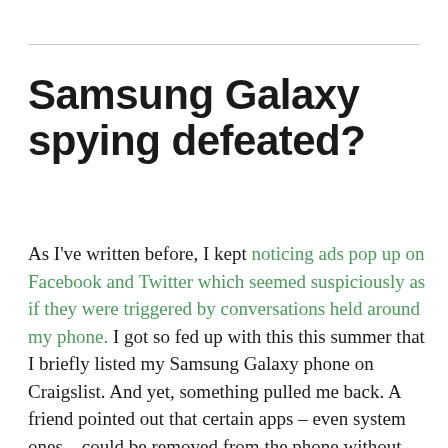Samsung Galaxy spying defeated?
As I've written before, I kept noticing ads pop up on Facebook and Twitter which seemed suspiciously as if they were triggered by conversations held around my phone. I got so fed up with this this summer that I briefly listed my Samsung Galaxy phone on Craigslist. And yet, something pulled me back. A friend pointed out that certain apps – even system ones – could be removed from the phone without actually rooting it. I have always been impressed with the Galaxy's hardware; it was Samsung's bloatware that drew my